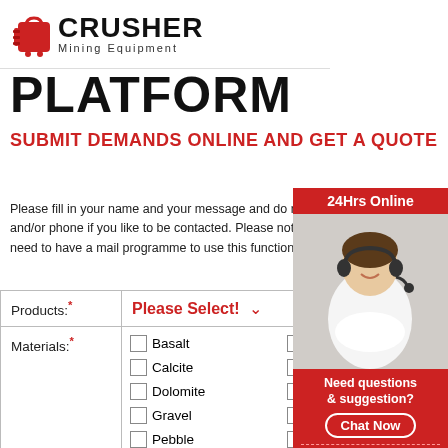[Figure (logo): Crusher Mining Equipment logo with red shopping bag icon and bold CRUSHER text]
PLATFORM
SUBMIT DEMANDS ONLINE AND GET A QUOTE
Please fill in your name and your message and do not forget mail and/or phone if you like to be contacted. Please note that you do not need to have a mail programme to use this function.
| Field | Value |
| --- | --- |
| Products:* | Please Select! |
| Materials:* | Basalt, Barite, Bento[nite], Calcite, Coal, Copp[er Ore], Dolomite, Feldspar, Gravel, Granite, Qua[rtz], Pebble, Slag, Limest[one], Other: |
[Figure (photo): 24Hrs Online - woman with headset, customer service representative]
Need questions & suggestion?
Chat Now
Enquiry
limingjlmofen@sina.com